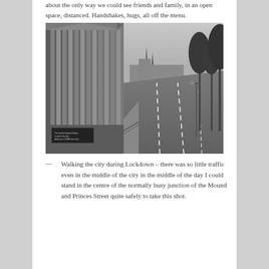about the only way we could see friends and family, in an open space, distanced. Handshakes, hugs, all off the menu.
[Figure (photo): Black and white photograph of an empty Princes Street in Edinburgh during lockdown, showing the Scottish National Gallery with its neoclassical columns on the left, an empty multi-lane road in the centre, bare trees on the right, and church spires visible in the distance.]
— Walking the city during Lockdown – there was so little traffic even in the middle of the city in the middle of the day I could stand in the centre of the normally busy junction of the Mound and Princes Street quite safely to take this shot.